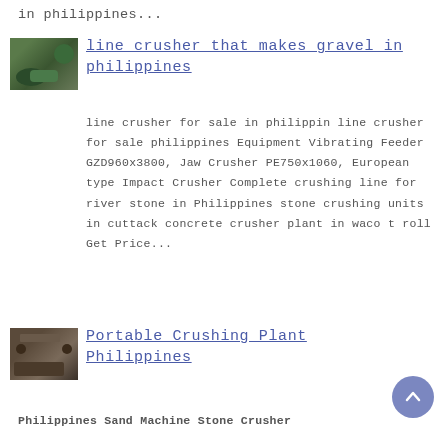in philippines...
[Figure (photo): Industrial crusher machine with green components]
line crusher that makes gravel in philippines
line crusher for sale in philippin line crusher for sale philippines Equipment Vibrating Feeder GZD960x3800, Jaw Crusher PE750x1060, European type Impact Crusher Complete crushing line for river stone in Philippines stone crushing units in cuttack concrete crusher plant in waco t roll Get Price...
[Figure (photo): Portable crushing plant equipment on ground]
Portable Crushing Plant Philippines
Philippines Sand Machine Stone Crusher